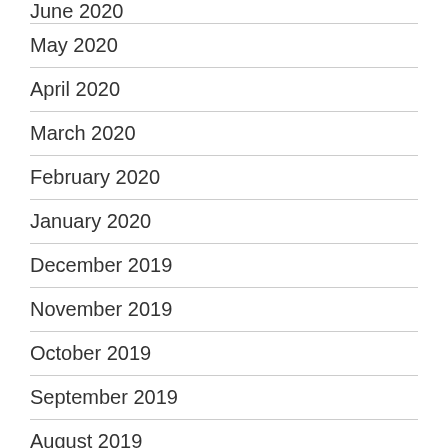June 2020
May 2020
April 2020
March 2020
February 2020
January 2020
December 2019
November 2019
October 2019
September 2019
August 2019
July 2019